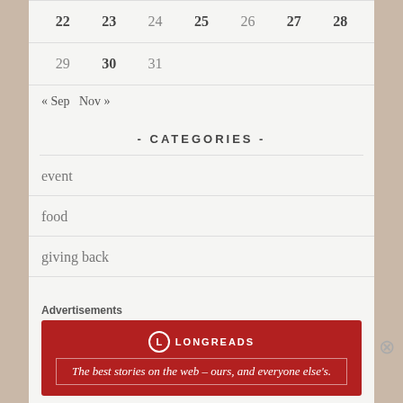| 22 | 23 | 24 | 25 | 26 | 27 | 28 |
| --- | --- | --- | --- | --- | --- | --- |
| 29 | 30 | 31 |  |  |  |  |
« Sep   Nov »
- CATEGORIES -
event
food
giving back
Advertisements
[Figure (infographic): Longreads advertisement banner: red background with Longreads logo and tagline 'The best stories on the web – ours, and everyone else's.']